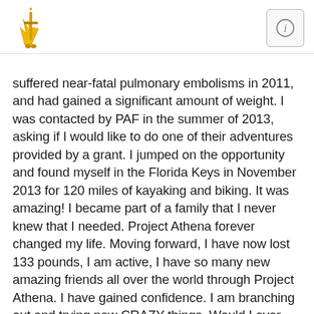[Logo: Project Athena Foundation] [Info button]
suffered near-fatal pulmonary embolisms in 2011, and had gained a significant amount of weight. I was contacted by PAF in the summer of 2013, asking if I would like to do one of their adventures provided by a grant. I jumped on the opportunity and found myself in the Florida Keys in November 2013 for 120 miles of kayaking and biking. It was amazing! I became part of a family that I never knew that I needed. Project Athena forever changed my life. Moving forward, I have now lost 133 pounds, I am active, I have so many new amazing friends all over the world through Project Athena. I have gained confidence. I am branching out and trying new CRAZY things. Would I ever dream or dare to hike the Grand Canyon? HECK NO. But here we go! Please support my fundraising efforts for the Project Athena Fundraising. No donation